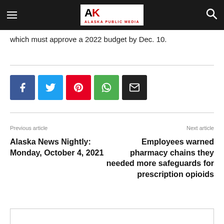Alaska Public Media
which must approve a 2022 budget by Dec. 10.
[Figure (other): Social share buttons: Facebook, Twitter, Pinterest, WhatsApp, Email]
Previous article
Next article
Alaska News Nightly: Monday, October 4, 2021
Employees warned pharmacy chains they needed more safeguards for prescription opioids